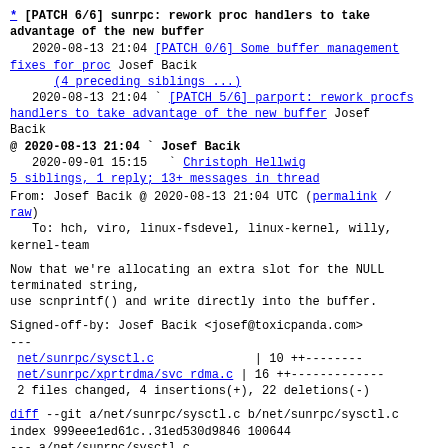* [PATCH 6/6] sunrpc: rework proc handlers to take advantage of the new buffer
2020-08-13 21:04 [PATCH 0/6] Some buffer management fixes for proc Josef Bacik
(4 preceding siblings ...)
2020-08-13 21:04 ` [PATCH 5/6] parport: rework procfs handlers to take advantage of the new buffer Josef Bacik
@ 2020-08-13 21:04 ` Josef Bacik
2020-09-01 15:15 ` Christoph Hellwig
5 siblings, 1 reply; 13+ messages in thread
From: Josef Bacik @ 2020-08-13 21:04 UTC (permalink / raw)
  To: hch, viro, linux-fsdevel, linux-kernel, willy, kernel-team
Now that we're allocating an extra slot for the NULL terminated string,
use scnprintf() and write directly into the buffer.
Signed-off-by: Josef Bacik <josef@toxicpanda.com>
---
 net/sunrpc/sysctl.c              | 10 ++--------
 net/sunrpc/xprtrdma/svc_rdma.c | 16 ++-------------
 2 files changed, 4 insertions(+), 22 deletions(-)
diff --git a/net/sunrpc/sysctl.c b/net/sunrpc/sysctl.c
index 999eee1ed61c..31ed530d9846 100644
--- a/net/sunrpc/sysctl.c